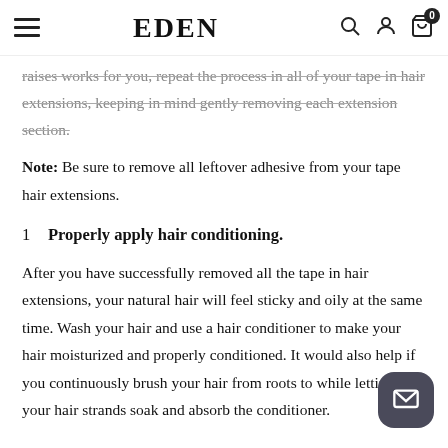EDEN
raises works for you, repeat the process in all of your tape in hair extensions, keeping in mind gently removing each extension section.
Note: Be sure to remove all leftover adhesive from your tape hair extensions.
1  Properly apply hair conditioning.
After you have successfully removed all the tape in hair extensions, your natural hair will feel sticky and oily at the same time. Wash your hair and use a hair conditioner to make your hair moisturized and properly conditioned. It would also help if you continuously brush your hair from roots to while letting your hair strands soak and absorb the conditioner.